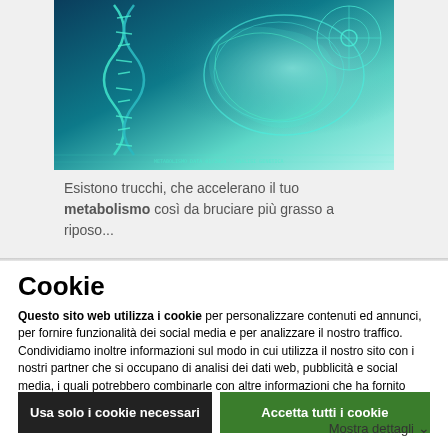[Figure (photo): Scientific/medical illustration showing a DNA double helix structure on the left and a human brain outline with technical diagram overlays on cyan/teal and blue background]
Esistono trucchi, che accelerano il tuo metabolismo così da bruciare più grasso a riposo...
Cookie
Questo sito web utilizza i cookie per personalizzare contenuti ed annunci, per fornire funzionalità dei social media e per analizzare il nostro traffico. Condividiamo inoltre informazioni sul modo in cui utilizza il nostro sito con i nostri partner che si occupano di analisi dei dati web, pubblicità e social media, i quali potrebbero combinarle con altre informazioni che ha fornito loro.
Usa solo i cookie necessari
Accetta tutti i cookie
Mostra dettagli